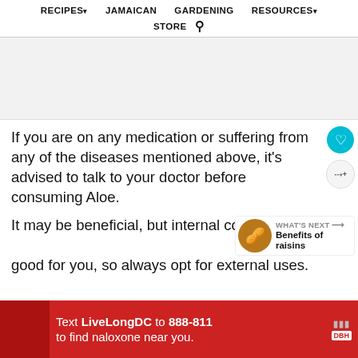RECIPES▾   JAMAICAN   GARDENING   RESOURCES▾   STORE 🔍
[Figure (other): Advertisement banner area, light grey background]
If you are on any medication or suffering from any of the diseases mentioned above, it's advised to talk to your doctor before consuming Aloe.
It may be beneficial, but internal consumption may not always be good for you, so always opt for external uses.
[Figure (other): What's Next promotional widget: image of raisins with label 'WHAT'S NEXT → Benefits of raisins']
[Figure (other): Advertisement banner: red background, text 'Text LiveLongDC to 888-811 to find naloxone near you.' with DBH logo]